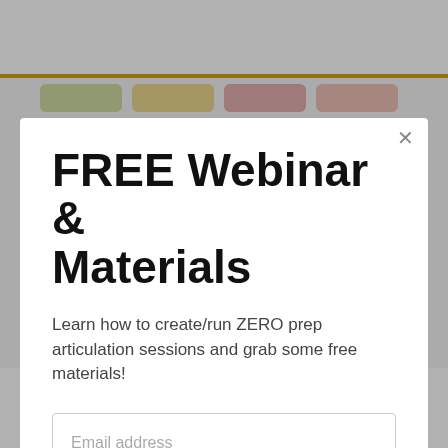[Figure (screenshot): Background of a web page with a gold/yellow top border and colored pill-shaped category buttons partially visible]
FREE Webinar & Materials
Learn how to create/run ZERO prep articulation sessions and grab some free materials!
Email address
Yes Please!
My Shopping Bag